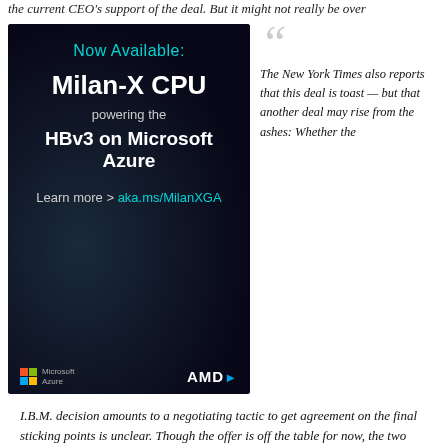the current CEO's support of the deal. But it might not really be over
[Figure (photo): Advertisement for AMD Milan-X CPU powering HBv3 on Microsoft Azure. Dark background with cyan and white text. Microsoft Azure and AMD logos at bottom.]
The New York Times also reports that this deal is toast — but that another deal may rise from the ashes: Whether the I.B.M. decision amounts to a negotiating tactic to get agreement on the final sticking points is unclear. Though the offer is off the table for now, the two sides could resume bargaining if Sun's share price drops from its $8.49 close on Friday and major investors pressure the company to come to an agreement.